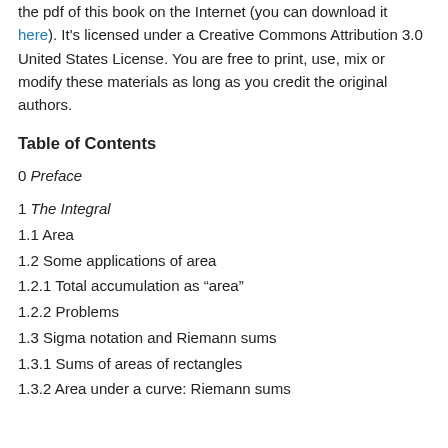the pdf of this book on the Internet (you can download it here). It's licensed under a Creative Commons Attribution 3.0 United States License. You are free to print, use, mix or modify these materials as long as you credit the original authors.
Table of Contents
0 Preface
1 The Integral
1.1 Area
1.2 Some applications of area
1.2.1 Total accumulation as “area”
1.2.2 Problems
1.3 Sigma notation and Riemann sums
1.3.1 Sums of areas of rectangles
1.3.2 Area under a curve: Riemann sums